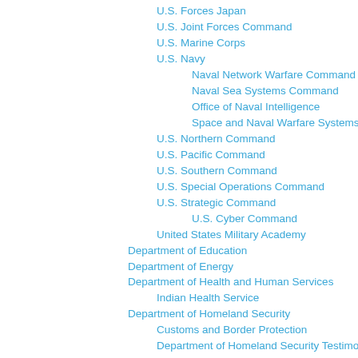U.S. Forces Japan
U.S. Joint Forces Command
U.S. Marine Corps
U.S. Navy
Naval Network Warfare Command
Naval Sea Systems Command
Office of Naval Intelligence
Space and Naval Warfare Systems Command
U.S. Northern Command
U.S. Pacific Command
U.S. Southern Command
U.S. Special Operations Command
U.S. Strategic Command
U.S. Cyber Command
United States Military Academy
Department of Education
Department of Energy
Department of Health and Human Services
Indian Health Service
Department of Homeland Security
Customs and Border Protection
Department of Homeland Security Testimony
Immigration and Customs Enforcement